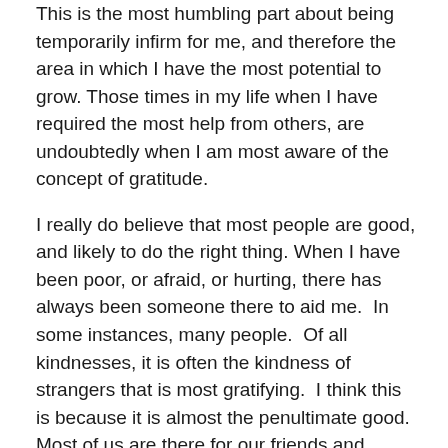This is the most humbling part about being temporarily infirm for me, and therefore the area in which I have the most potential to grow. Those times in my life when I have required the most help from others, are undoubtedly when I am most aware of the concept of gratitude.

I really do believe that most people are good, and likely to do the right thing. When I have been poor, or afraid, or hurting, there has always been someone there to aid me.  In some instances, many people.  Of all kindnesses, it is often the kindness of strangers that is most gratifying.  I think this is because it is almost the penultimate good.  Most of us are there for our friends and family, but when you reach out to those who have no claim on you other than their current need, you are really doing something for the right reason.  In fact, that is often the answer someone who has performed a heroic deed gives in response to the